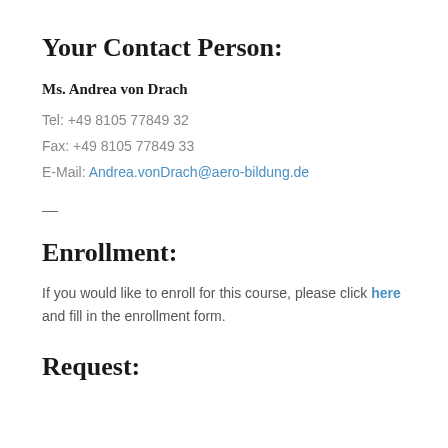Your Contact Person:
Ms. Andrea von Drach
Tel: +49 8105 77849 32
Fax: +49 8105 77849 33
E-Mail: Andrea.vonDrach@aero-bildung.de
—
Enrollment:
If you would like to enroll for this course, please click here and fill in the enrollment form.
Request: